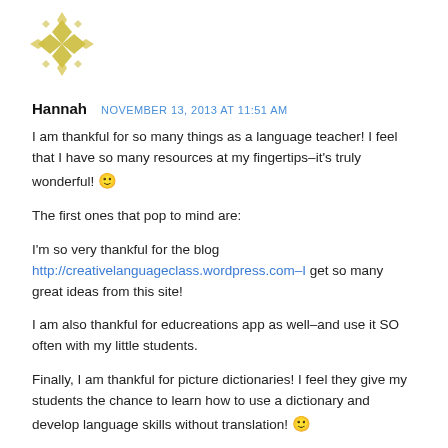[Figure (logo): Decorative diamond-pattern logo in yellow/gold tones, top left corner]
Hannah   NOVEMBER 13, 2013 AT 11:51 AM
I am thankful for so many things as a language teacher! I feel that I have so many resources at my fingertips–it's truly wonderful! 🙂
The first ones that pop to mind are:
I'm so very thankful for the blog http://creativelanguageclass.wordpress.com–I get so many great ideas from this site!
I am also thankful for educreations app as well–and use it SO often with my little students.
Finally, I am thankful for picture dictionaries! I feel they give my students the chance to learn how to use a dictionary and develop language skills without translation! 🙂